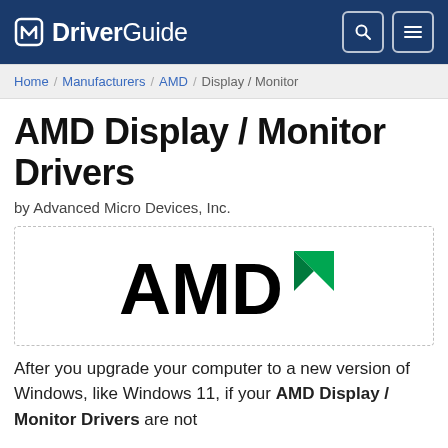DriverGuide
Home / Manufacturers / AMD / Display / Monitor
AMD Display / Monitor Drivers
by Advanced Micro Devices, Inc.
[Figure (logo): AMD logo with stylized green arrow mark]
After you upgrade your computer to a new version of Windows, like Windows 11, if your AMD Display / Monitor Drivers are not